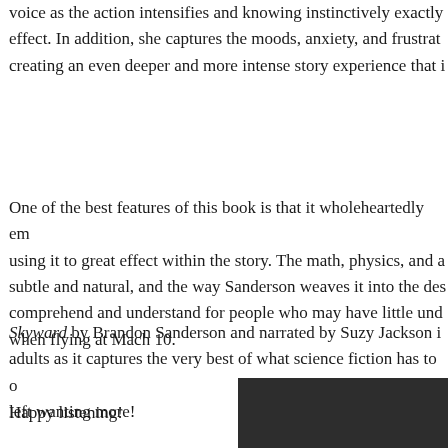voice as the action intensifies and knowing instinctively exactly [what to do for] effect. In addition, she captures the moods, anxiety, and frustrati[on of the characters,] creating an even deeper and more intense story experience that i[s remarkable].
One of the best features of this book is that it wholeheartedly em[braces science,] using it to great effect within the story. The math, physics, and a[eronavigation are] subtle and natural, and the way Sanderson weaves it into the des[cription] makes it comprehend and understand for people who may have little und[erstanding of what happens] when flying at Mach 10.
Skyward by Brandon Sanderson and narrated by Suzy Jackson i[s a must-listen for] adults as it captures the very best of what science fiction has to o[ffer], and you'll be left wanting more!
Happy listening!
[Figure (photo): Dark rectangular image in the bottom-right corner of the page, partially visible.]